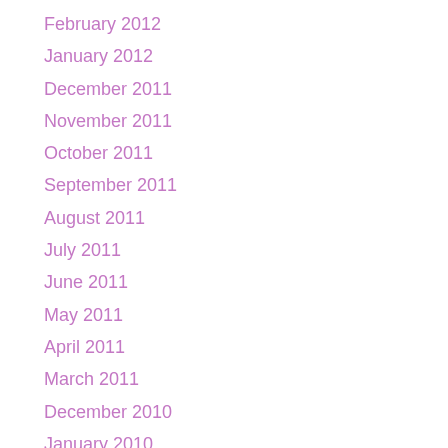February 2012
January 2012
December 2011
November 2011
October 2011
September 2011
August 2011
July 2011
June 2011
May 2011
April 2011
March 2011
December 2010
January 2010